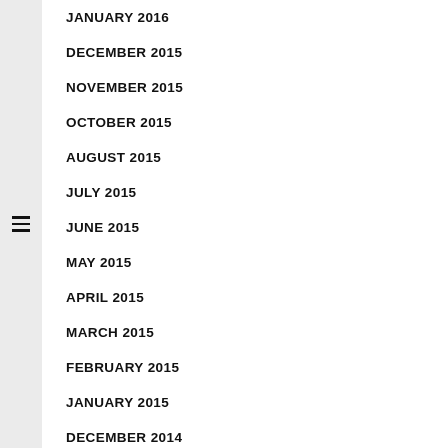JANUARY 2016
DECEMBER 2015
NOVEMBER 2015
OCTOBER 2015
AUGUST 2015
JULY 2015
JUNE 2015
MAY 2015
APRIL 2015
MARCH 2015
FEBRUARY 2015
JANUARY 2015
DECEMBER 2014
NOVEMBER 2014